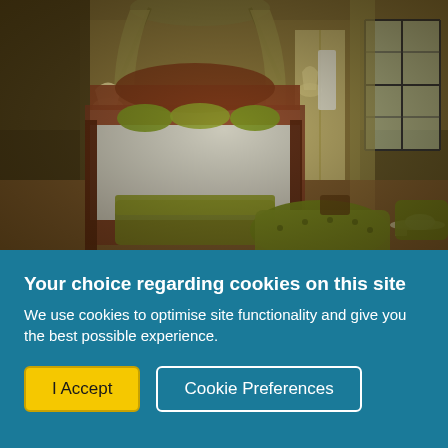[Figure (photo): Hotel bedroom with a four-poster bed with floral bedspread, olive/chartreuse green tufted sofa and armchairs, canopy drapes over the bed, warm lamps, wooden furniture, a folding screen near an open door, and multi-pane windows with curtains. The room has a warm golden-brown ambiance.]
Your choice regarding cookies on this site
We use cookies to optimise site functionality and give you the best possible experience.
I Accept
Cookie Preferences